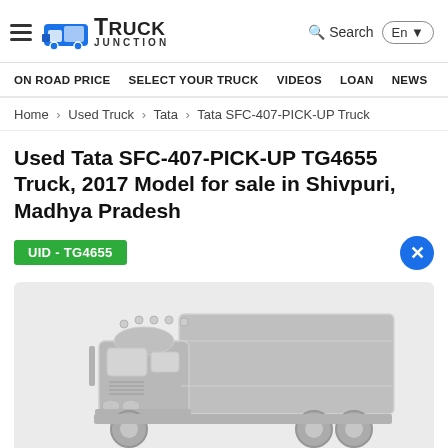Truck Junction — Search En
ON ROAD PRICE  SELECT YOUR TRUCK  VIDEOS  LOAN  NEWS
Home > Used Truck > Tata > Tata SFC-407-PICK-UP Truck
Used Tata SFC-407-PICK-UP TG4655 Truck, 2017 Model for sale in Shivpuri, Madhya Pradesh
UID - TG4655
[Figure (illustration): Placeholder illustration of a large truck (gray silhouette/outline) on a light gray background]